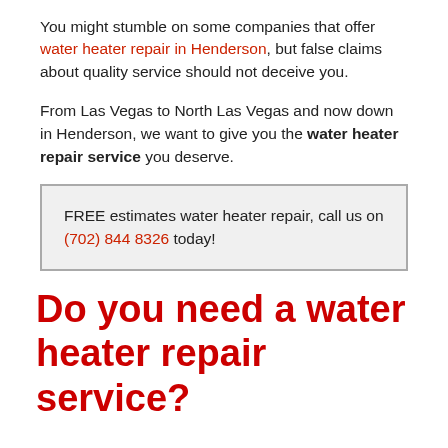You might stumble on some companies that offer water heater repair in Henderson, but false claims about quality service should not deceive you.
From Las Vegas to North Las Vegas and now down in Henderson, we want to give you the water heater repair service you deserve.
FREE estimates water heater repair, call us on (702) 844 8326 today!
Do you need a water heater repair service?